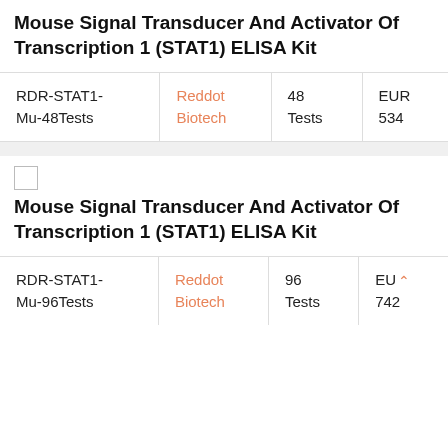Mouse Signal Transducer And Activator Of Transcription 1 (STAT1) ELISA Kit
| RDR-STAT1-Mu-48Tests | Reddot Biotech | 48 Tests | EUR 534 |
[Figure (photo): Small broken image placeholder icon]
Mouse Signal Transducer And Activator Of Transcription 1 (STAT1) ELISA Kit
| RDR-STAT1-Mu-96Tests | Reddot Biotech | 96 Tests | EUR 742 |